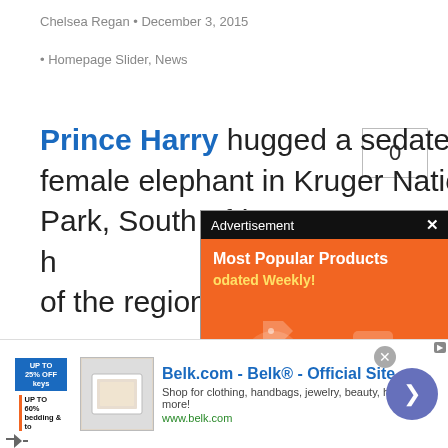Chelsea Regan • December 3, 2015
• Homepage Slider, News
Prince Harry hugged a sedated female elephant in Kruger National Park, South Africa on h… of the region.
PRINCE HARRY HUG…
Harry, on his fourth day in South Africa, visited the national park and took a
[Figure (screenshot): Advertisement overlay popup with orange background showing 'Most Popular Products Updated Weekly!' text and product icons]
[Figure (screenshot): Bottom banner advertisement for Belk.com - Belk Official Site with product image and navigation arrow]